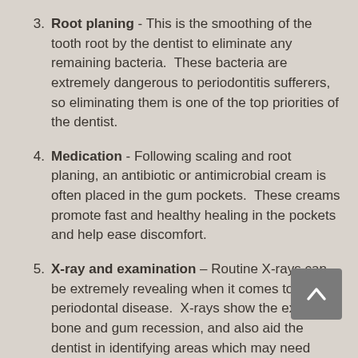3. Root planing - This is the smoothing of the tooth root by the dentist to eliminate any remaining bacteria.  These bacteria are extremely dangerous to periodontitis sufferers, so eliminating them is one of the top priorities of the dentist.
4. Medication - Following scaling and root planing, an antibiotic or antimicrobial cream is often placed in the gum pockets.  These creams promote fast and healthy healing in the pockets and help ease discomfort.
5. X-ray and examination – Routine X-rays can be extremely revealing when it comes to periodontal disease.  X-rays show the extent of bone and gum recession, and also aid the dentist in identifying areas which may need future attention.
Prophylaxis is recommended twice annually as a preventative measure, but should be performed every 3-4